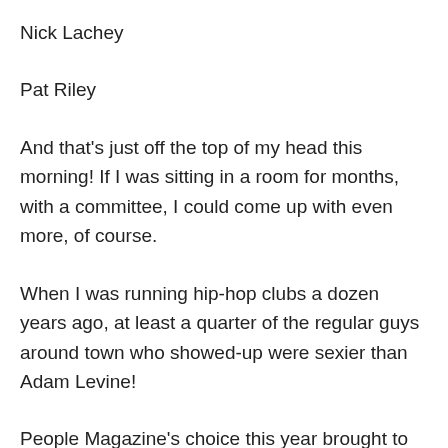Nick Lachey
Pat Riley
And that's just off the top of my head this morning! If I was sitting in a room for months, with a committee, I could come up with even more, of course.
When I was running hip-hop clubs a dozen years ago, at least a quarter of the regular guys around town who showed-up were sexier than Adam Levine!
People Magazine's choice this year brought to mind a line that Cathy Moriarty's character delivered in the film Raging Bull, one which Mr. X and I quote all the